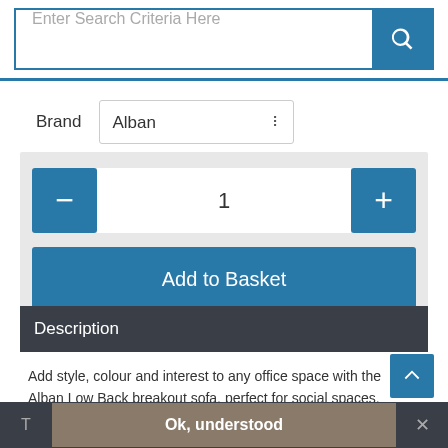[Figure (screenshot): Search bar with text 'Enter Search Criteria Here' and a blue search button with magnifying glass icon]
Brand   Alban
[Figure (screenshot): Quantity selector with minus and plus blue buttons, showing value 1, and a blue 'Add to Basket' button]
Description
Add style, colour and interest to any office space with the Alban Low Back breakout sofa, perfect for social spaces,
T   Ok, understood   ✕